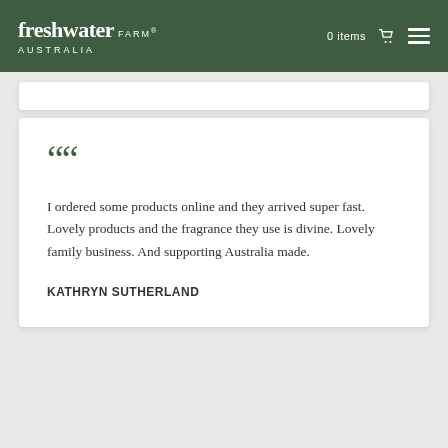freshwater FARM® AUSTRALIA | 0 items
I ordered some products online and they arrived super fast. Lovely products and the fragrance they use is divine. Lovely family business. And supporting Australia made.
KATHRYN SUTHERLAND